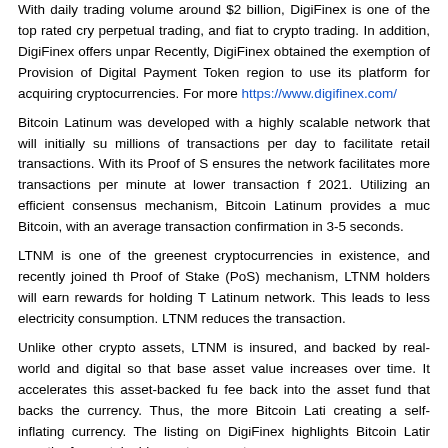With daily trading volume around $2 billion, DigiFinex is one of the top rated crypto perpetual trading, and fiat to crypto trading. In addition, DigiFinex offers unpara Recently, DigiFinex obtained the exemption of Provision of Digital Payment Token region to use its platform for acquiring cryptocurrencies. For more https://www.digifinex.com/
Bitcoin Latinum was developed with a highly scalable network that will initially su millions of transactions per day to facilitate retail transactions. With its Proof of S ensures the network facilitates more transactions per minute at lower transaction f 2021. Utilizing an efficient consensus mechanism, Bitcoin Latinum provides a muc Bitcoin, with an average transaction confirmation in 3-5 seconds.
LTNM is one of the greenest cryptocurrencies in existence, and recently joined th Proof of Stake (PoS) mechanism, LTNM holders will earn rewards for holding T Latinum network. This leads to less electricity consumption. LTNM reduces the transaction.
Unlike other crypto assets, LTNM is insured, and backed by real-world and digital so that base asset value increases over time. It accelerates this asset-backed fu fee back into the asset fund that backs the currency. Thus, the more Bitcoin Lati creating a self-inflating currency. The listing on DigiFinex highlights Bitcoin Latir growth of a sustainable crypto ecosystem.